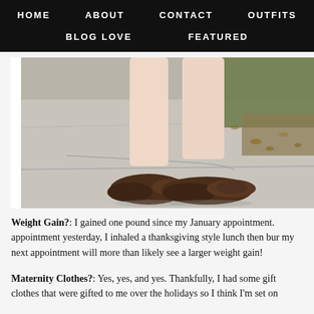HOME   ABOUT   CONTACT   OUTFITS   BLOG LOVE   FEATURED
[Figure (photo): Close-up photo of a person's legs and feet wearing dark brown ballet flats, standing on a concrete sidewalk with fallen leaves in the background.]
Weight Gain?:  I gained one pound since my January appointment. appointment yesterday, I inhaled a thanksgiving style lunch then bur my next appointment will more than likely see a larger weight gain!
Maternity Clothes?:  Yes, yes, and yes.  Thankfully, I had some gift clothes that were gifted to me over the holidays so I think I'm set on